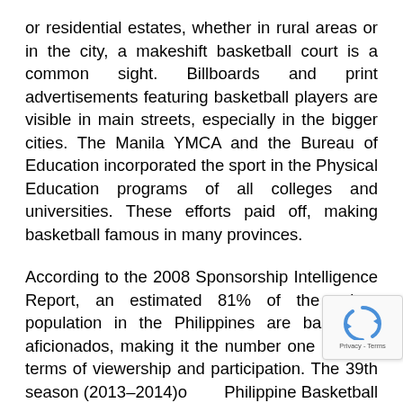or residential estates, whether in rural areas or in the city, a makeshift basketball court is a common sight. Billboards and print advertisements featuring basketball players are visible in main streets, especially in the bigger cities. The Manila YMCA and the Bureau of Education incorporated the sport in the Physical Education programs of all colleges and universities. These efforts paid off, making basketball famous in many provinces.
According to the 2008 Sponsorship Intelligence Report, an estimated 81% of the urban population in the Philippines are basketball aficionados, making it the number one sport in terms of viewership and participation. The 39th season (2013–2014)of the Philippine Basketball Association (PBA) aired on national
[Figure (other): reCAPTCHA widget overlay showing refresh icon and Privacy - Terms text]